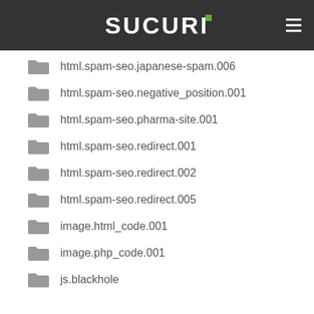SUCURI
html.spam-seo.japanese-spam.006
html.spam-seo.negative_position.001
html.spam-seo.pharma-site.001
html.spam-seo.redirect.001
html.spam-seo.redirect.002
html.spam-seo.redirect.005
image.html_code.001
image.php_code.001
js.blackhole